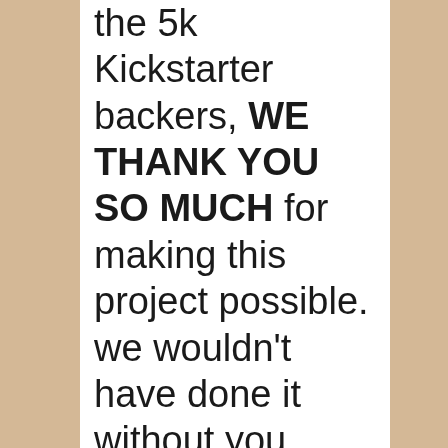the 5k Kickstarter backers, WE THANK YOU SO MUCH for making this project possible. we wouldn't have done it without you. and if you want to help the cause and push the album forward, write some thoughts/reviews about it all (you've